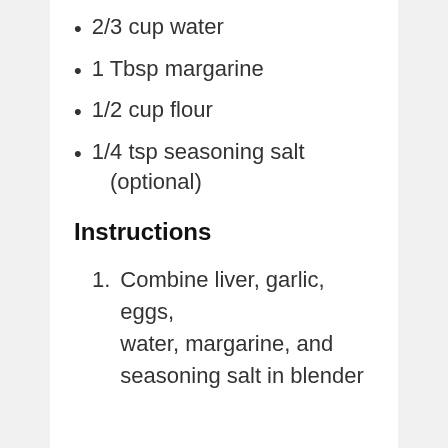2/3 cup water
1 Tbsp margarine
1/2 cup flour
1/4 tsp seasoning salt (optional)
Instructions
Combine liver, garlic, eggs, water, margarine, and seasoning salt in blender